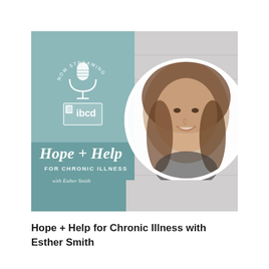[Figure (illustration): Podcast cover art for 'Hope + Help for Chronic Illness with Esther Smith' on IBCD. Left half shows a teal/muted blue-green background with a microphone icon, arc text 'NOW STREAMING', the IBCD logo, and script text 'Hope + Help FOR CHRONIC ILLNESS with Esther Smith' on a darker teal lower section. Right half shows a light grey wood-plank background with a circular portrait photo of a smiling young woman with long brown hair.]
Hope + Help for Chronic Illness with Esther Smith